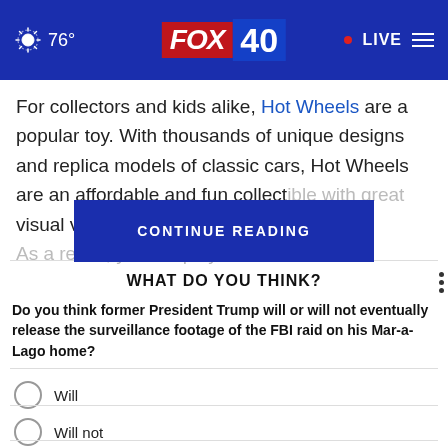76° FOX 40 · LIVE
For collectors and kids alike, Hot Wheels are a popular toy. With thousands of unique designs and replica models of classic cars, Hot Wheels are an affordable and fun collect[ible with great visual value. As a result, yo[u'll find display cases
CONTINUE READING
WHAT DO YOU THINK?
Do you think former President Trump will or will not eventually release the surveillance footage of the FBI raid on his Mar-a-Lago home?
Will
Will not
I'm not sure